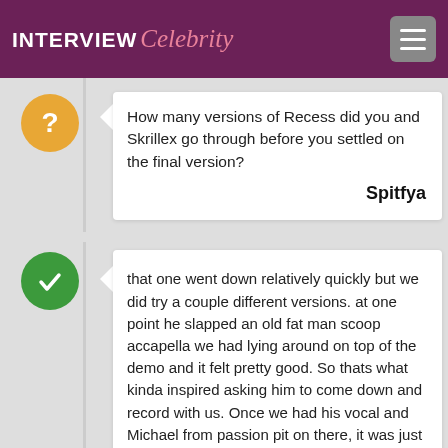INTERVIEW Celebrity
How many versions of Recess did you and Skrillex go through before you settled on the final version?
Spitfya
that one went down relatively quickly but we did try a couple different versions. at one point he slapped an old fat man scoop accapella we had lying around on top of the demo and it felt pretty good. So thats what kinda inspired asking him to come down and record with us. Once we had his vocal and Michael from passion pit on there, it was just a matter of getting the arrangement together and tightening up the mix and sound design. He did a lot of work making that main lead noise kinda sound "plucky" there's older versions of that...